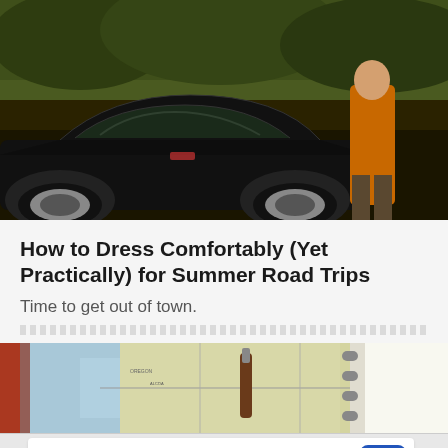[Figure (photo): A black vintage sports car (Corvette) with a person in orange jacket standing beside it, shot from a low angle against a leafy background]
How to Dress Comfortably (Yet Practically) for Summer Road Trips
Time to get out of town.
[Figure (photo): Top-down view of a road map with a pen/tool and a spiral-bound notebook, items scattered on the map]
[Figure (other): Advertisement banner: Powered By Walgreens - Walgreens Photo, with Walgreens cursive W logo and a blue navigation arrow icon, with a close (X) button]
[Figure (photo): Continuation of the road map photo showing items including a lighter/flask and pen on map]